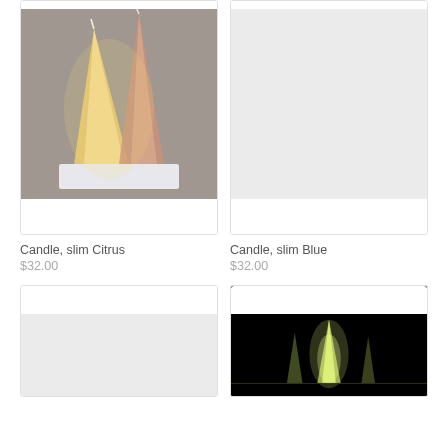[Figure (photo): Photo of slim citrus candles (yellow and pink conical candles) against a gray background on a white surface]
[Figure (photo): Light gray placeholder image for slim blue candle product]
Candle, slim Citrus
$32.00
Candle, slim Blue
$32.00
[Figure (photo): Light gray placeholder image for another product]
[Figure (photo): Dark/black background photo showing glowing candles]